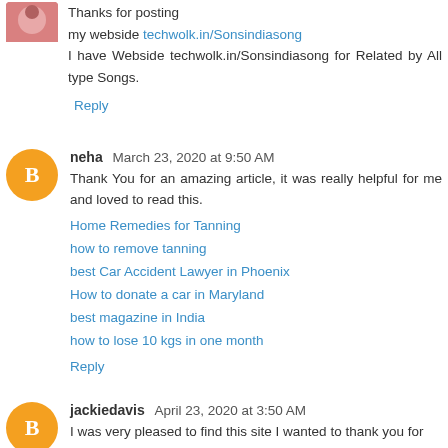Thanks for posting
my webside techwolk.in/Sonsindiasong
I have Webside techwolk.in/Sonsindiasong for Related by All type Songs.
Reply
neha  March 23, 2020 at 9:50 AM
Thank You for an amazing article, it was really helpful for me and loved to read this.
Home Remedies for Tanning
how to remove tanning
best Car Accident Lawyer in Phoenix
How to donate a car in Maryland
best magazine in India
how to lose 10 kgs in one month
Reply
jackiedavis  April 23, 2020 at 3:50 AM
I was very pleased to find this site I wanted to thank you for